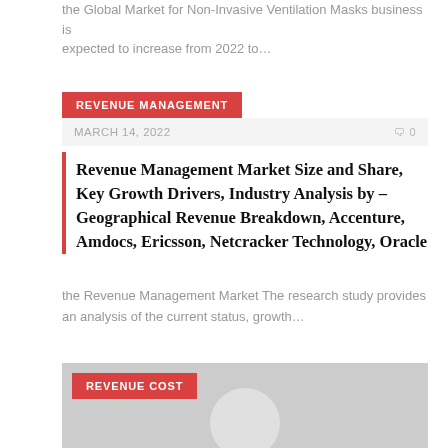the Global Market for Non-Invasive Ventilation Masks business is expected to increase from 2022 to…
REVENUE MANAGEMENT
MARCH 14, 2022    🗨 0
Revenue Management Market Size and Share, Key Growth Drivers, Industry Analysis by – Geographical Revenue Breakdown, Accenture, Amdocs, Ericsson, Netcracker Technology, Oracle
the Revenue Management Market The research study provides an analysis of the current status, growth…
REVENUE COST
[Figure (photo): Gray placeholder image with circular avatar at the bottom center, partially visible]